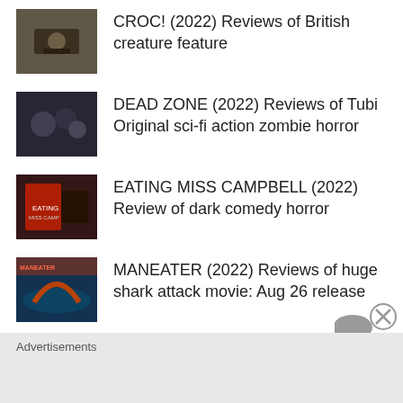CROC! (2022) Reviews of British creature feature
DEAD ZONE (2022) Reviews of Tubi Original sci-fi action zombie horror
EATING MISS CAMPBELL (2022) Review of dark comedy horror
MANEATER (2022) Reviews of huge shark attack movie: Aug 26 release
MONSTER ATTACK 3: JURASSIC MYSTERY (2022) Review of creature
Advertisements